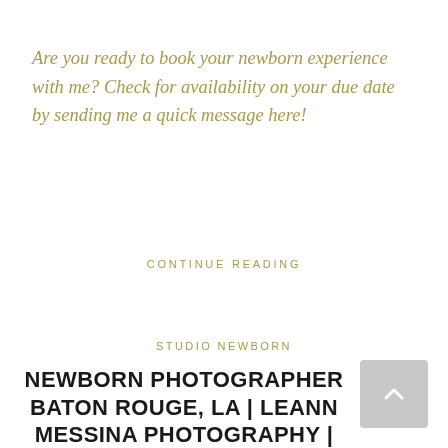Are you ready to book your newborn experience with me? Check for availability on your due date by sending me a quick message here!
CONTINUE READING
STUDIO NEWBORN
NEWBORN PHOTOGRAPHER BATON ROUGE, LA | LEANN MESSINA PHOTOGRAPHY | EMMA